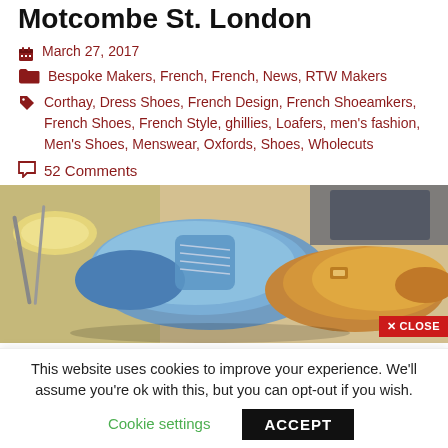Motcombe St. London
March 27, 2017
Bespoke Makers, French, French, News, RTW Makers
Corthay, Dress Shoes, French Design, French Shoeamkers, French Shoes, French Style, ghillies, Loafers, men's fashion, Men's Shoes, Menswear, Oxfords, Shoes, Wholecuts
52 Comments
[Figure (photo): Bespoke shoes on a table - blue and tan leather shoes with tools and materials]
This website uses cookies to improve your experience. We'll assume you're ok with this, but you can opt-out if you wish.
Cookie settings  ACCEPT